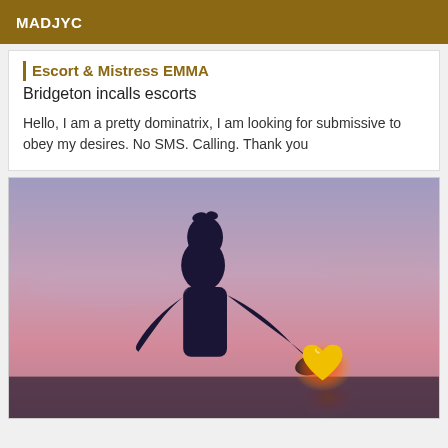MADJYC
Escort & Mistress EMMA
Bridgeton incalls escorts
Hello, I am a pretty dominatrix, I am looking for submissive to obey my desires. No SMS. Calling. Thank you
[Figure (photo): Silhouette of a person holding a glowing heart shape against a purple and pink sunset sky]